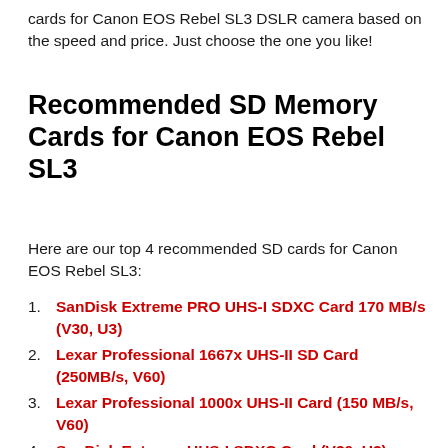cards for Canon EOS Rebel SL3 DSLR camera based on the speed and price. Just choose the one you like!
Recommended SD Memory Cards for Canon EOS Rebel SL3
Here are our top 4 recommended SD cards for Canon EOS Rebel SL3:
SanDisk Extreme PRO UHS-I SDXC Card 170 MB/s (V30, U3)
Lexar Professional 1667x UHS-II SD Card (250MB/s, V60)
Lexar Professional 1000x UHS-II Card (150 MB/s, V60)
SanDisk Extreme UHS-I SDXC Card (V30, U3)